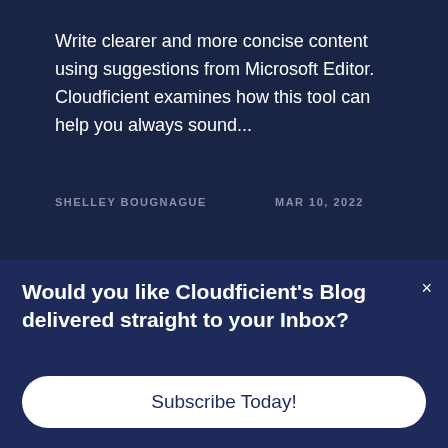Write clearer and more concise content using suggestions from Microsoft Editor. Cloudficient examines how this tool can help you always sound...
SHELLEY BOUGNAGUE    MAR 10, 2022
[Figure (photo): Person with arms raised in a forest/outdoor setting with trees in background]
Would you like Cloudficient's Blog delivered straight to your Inbox?
Subscribe Today!